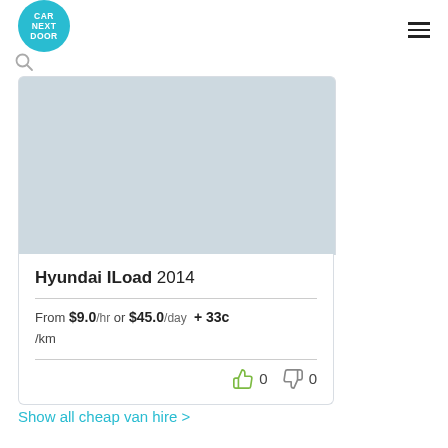CAR NEXT DOOR
[Figure (photo): Light blue-grey placeholder image area for car photo]
Hyundai ILoad 2014
From $9.0 /hr or $45.0 /day  + 33c /km
0 thumbs up, 0 thumbs down
Show all cheap van hire >